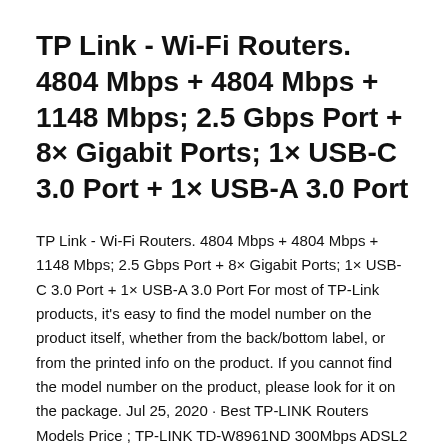TP Link - Wi-Fi Routers. 4804 Mbps + 4804 Mbps + 1148 Mbps; 2.5 Gbps Port + 8× Gigabit Ports; 1× USB-C 3.0 Port + 1× USB-A 3.0 Port
TP Link - Wi-Fi Routers. 4804 Mbps + 4804 Mbps + 1148 Mbps; 2.5 Gbps Port + 8× Gigabit Ports; 1× USB-C 3.0 Port + 1× USB-A 3.0 Port For most of TP-Link products, it's easy to find the model number on the product itself, whether from the back/bottom label, or from the printed info on the product. If you cannot find the model number on the product, please look for it on the package. Jul 25, 2020 · Best TP-LINK Routers Models Price ; TP-LINK TD-W8961ND 300Mbps ADSL2 Wireless with Modem Router ₹1649: TP-LINK 300Mbps TL-WR841N Wireless N Router ₹1099: TP-LINK Deco M5 AC1300 Home Wi-Fi System ₹6000: TP-LINK Archer C20 AC750